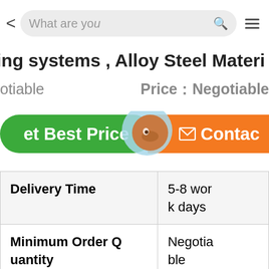< What are you [search] ≡
ing systems , Alloy Steel Materi
otiable    Price：Negotiable
[Figure (screenshot): Green 'Get Best Price' button on left, orange 'Contact' button on right, with 'Chat Now' chat widget overlay in center]
| Delivery Time | 5-8 work days |
| Minimum Order Quantity | Negotiable |